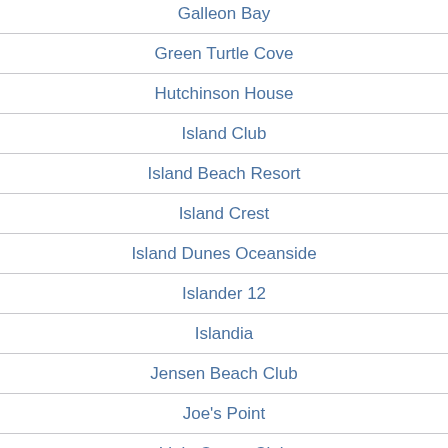Galleon Bay
Green Turtle Cove
Hutchinson House
Island Club
Island Beach Resort
Island Crest
Island Dunes Oceanside
Islander 12
Islandia
Jensen Beach Club
Joe's Point
Little Ocean Club
Little Ocean Place